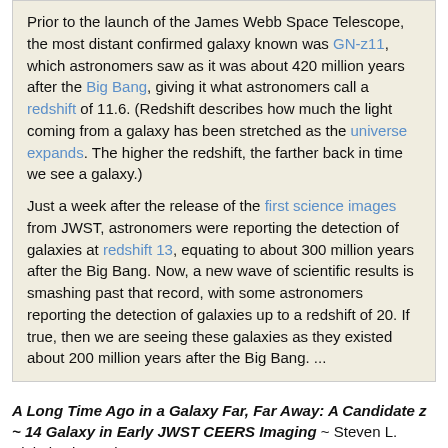Prior to the launch of the James Webb Space Telescope, the most distant confirmed galaxy known was GN-z11, which astronomers saw as it was about 420 million years after the Big Bang, giving it what astronomers call a redshift of 11.6. (Redshift describes how much the light coming from a galaxy has been stretched as the universe expands. The higher the redshift, the farther back in time we see a galaxy.) Just a week after the release of the first science images from JWST, astronomers were reporting the detection of galaxies at redshift 13, equating to about 300 million years after the Big Bang. Now, a new wave of scientific results is smashing past that record, with some astronomers reporting the detection of galaxies up to a redshift of 20. If true, then we are seeing these galaxies as they existed about 200 million years after the Big Bang. ...
A Long Time Ago in a Galaxy Far, Far Away: A Candidate z ~ 14 Galaxy in Early JWST CEERS Imaging ~ Steven L. Finkelstein et al
arXiv | astro-ph | arXiv:2207.12474 > 25 Jul 2022
The evolution of the galaxy UV luminosity function at redshifts z ~ 8-15 from deep JWST and ground-based near-infrared imaging ~ C. T. Donnan et al